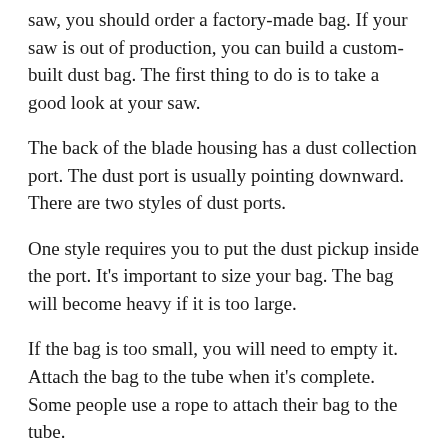saw, you should order a factory-made bag. If your saw is out of production, you can build a custom-built dust bag. The first thing to do is to take a good look at your saw.
The back of the blade housing has a dust collection port. The dust port is usually pointing downward. There are two styles of dust ports.
One style requires you to put the dust pickup inside the port. It's important to size your bag. The bag will become heavy if it is too large.
If the bag is too small, you will need to empty it. Attach the bag to the tube when it's complete. Some people use a rope to attach their bag to the tube.
Others use a mechanical device. The fit should be tight and secure to be safe and prevent dust particles from escaping. There are several reasons